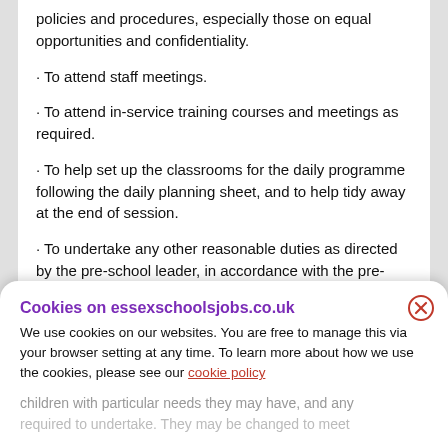policies and procedures, especially those on equal opportunities and confidentiality.
· To attend staff meetings.
· To attend in-service training courses and meetings as required.
· To help set up the classrooms for the daily programme following the daily planning sheet, and to help tidy away at the end of session.
· To undertake any other reasonable duties as directed by the pre-school leader, in accordance with the pre-school's business plan/objectives.
NB: This post is exempt from the Rehabilitation of Offenders Act 1974. Applicants must be prepared to disclose any criminal record they have and any ...
Cookies on essexschoolsjobs.co.uk — We use cookies on our websites. You are free to manage this via your browser setting at any time. To learn more about how we use the cookies, please see our cookie policy